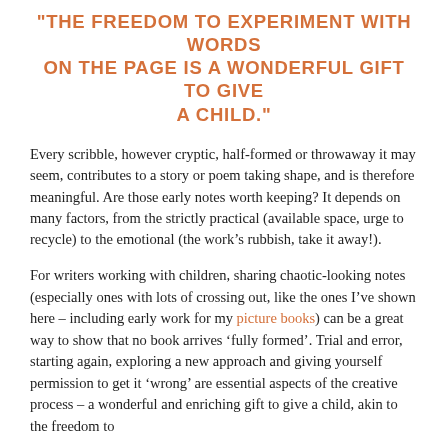"THE FREEDOM TO EXPERIMENT WITH WORDS ON THE PAGE IS A WONDERFUL GIFT TO GIVE A CHILD."
Every scribble, however cryptic, half-formed or throwaway it may seem, contributes to a story or poem taking shape, and is therefore meaningful. Are those early notes worth keeping? It depends on many factors, from the strictly practical (available space, urge to recycle) to the emotional (the work’s rubbish, take it away!).
For writers working with children, sharing chaotic-looking notes (especially ones with lots of crossing out, like the ones I’ve shown here – including early work for my picture books) can be a great way to show that no book arrives ‘fully formed’. Trial and error, starting again, exploring a new approach and giving yourself permission to get it ‘wrong’ are essential aspects of the creative process – a wonderful and enriching gift to give a child, akin to the freedom to